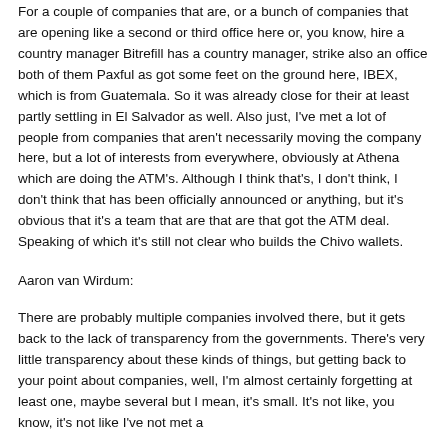For a couple of companies that are, or a bunch of companies that are opening like a second or third office here or, you know, hire a country manager Bitrefill has a country manager, strike also an office both of them Paxful as got some feet on the ground here, IBEX, which is from Guatemala. So it was already close for their at least partly settling in El Salvador as well. Also just, I've met a lot of people from companies that aren't necessarily moving the company here, but a lot of interests from everywhere, obviously at Athena which are doing the ATM's. Although I think that's, I don't think, I don't think that has been officially announced or anything, but it's obvious that it's a team that are that are that got the ATM deal. Speaking of which it's still not clear who builds the Chivo wallets.
Aaron van Wirdum:
There are probably multiple companies involved there, but it gets back to the lack of transparency from the governments. There's very little transparency about these kinds of things, but getting back to your point about companies, well, I'm almost certainly forgetting at least one, maybe several but I mean, it's small. It's not like, you know, it's not like I've not met a